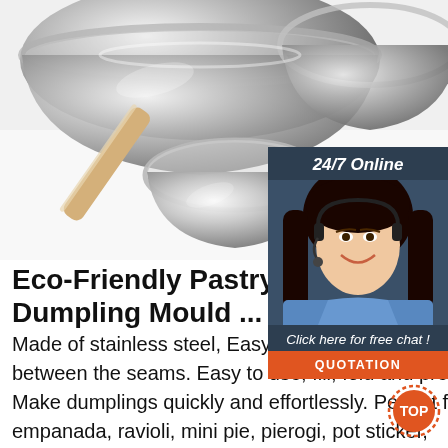[Figure (photo): Photo of stainless steel mixing bowls and a rolling pin on a white surface with a chili pepper. Product photo for kitchen equipment listing.]
[Figure (infographic): 24/7 Online chat widget with a female customer service agent wearing a headset, 'Click here for free chat!' text, and an orange QUOTATION button.]
Eco-Friendly Pastry Stainless Dumpling Mould ...
Made of stainless steel, Easy to clean preventing food residue from sticking in between the seams. Easy to use, fill, fold and press into perfect dumplings, Make dumplings quickly and effortlessly. Perfect for making dumpling, empanada, ravioli, mini pie, pierogi, pot sticker,
[Figure (other): Orange TOP button with dotted circle design in bottom right corner]